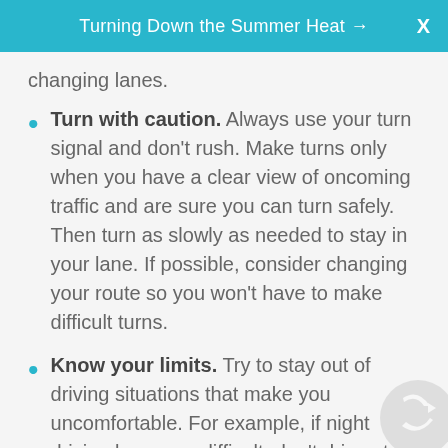Turning Down the Summer Heat →
changing lanes.
Turn with caution. Always use your turn signal and don't rush. Make turns only when you have a clear view of oncoming traffic and are sure you can turn safely. Then turn as slowly as needed to stay in your lane. If possible, consider changing your route so you won't have to make difficult turns.
Know your limits. Try to stay out of driving situations that make you uncomfortable. For example, if night driving becomes difficult, don't drive at night. Or plan ahead if you don't like driving fast, driving in a lot of traffic, or driving in bad weather. Don't be embarrassed to ask friends or family for a ride.